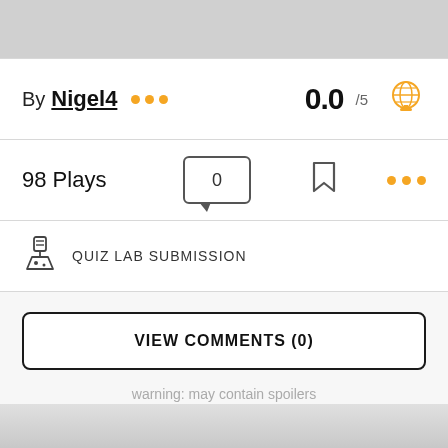By Nigel4 ••• 0.0 /5
98 Plays
QUIZ LAB SUBMISSION
VIEW COMMENTS (0)
warning: may contain spoilers